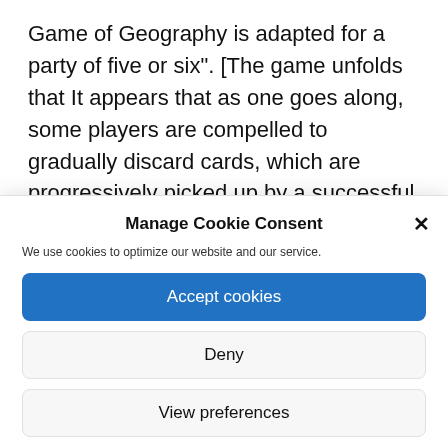Game of Geography is adapted for a party of five or six". [The game unfolds that It appears that as one goes along, some players are compelled to gradually discard cards, which are progressively picked up by a successful player, until that player attains.] "The object of the game [which] is to get
Manage Cookie Consent
We use cookies to optimize our website and our service.
Accept cookies
Deny
View preferences